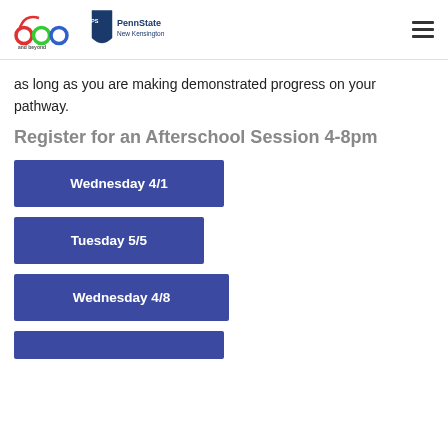abc and beyond / PennState New Kensington
as long as you are making demonstrated progress on your pathway.
Register for an Afterschool Session 4-8pm
Wednesday 4/1
Tuesday 5/5
Wednesday 4/8
(partially visible button)